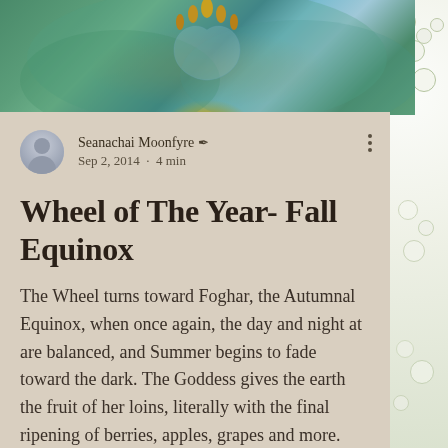[Figure (illustration): Decorative header image with teal, green, and blue tones with golden/amber floral or seed-like details at the top center]
Seanachai Moonfyre ✒ Sep 2, 2014 · 4 min
Wheel of The Year- Fall Equinox
The Wheel turns toward Foghar, the Autumnal Equinox, when once again, the day and night at are balanced, and Summer begins to fade toward the dark. The Goddess gives the earth the fruit of her loins, literally with the final ripening of berries, apples, grapes and more. While the God has part of his essence within her womb, he is also